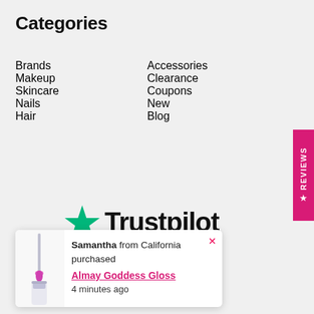Categories
Brands
Accessories
Makeup
Clearance
Skincare
Coupons
Nails
New
Hair
Blog
[Figure (logo): Trustpilot logo with green star and Trustpilot wordmark in dark text]
Samantha from California purchased Almay Goddess Gloss 4 minutes ago